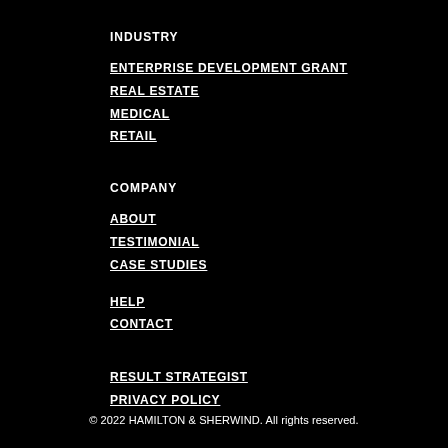INDUSTRY
ENTERPRISE DEVELOPMENT GRANT
REAL ESTATE
MEDICAL
RETAIL
COMPANY
ABOUT
TESTIMONIAL
CASE STUDIES
HELP
CONTACT
RESULT STRATEGIST
PRIVACY POLICY
© 2022 HAMILTON & SHERWIND. All rights reserved.